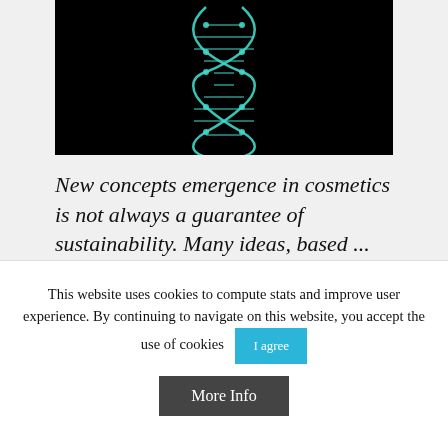[Figure (photo): DNA double helix illustration in cyan/green on black background]
New concepts emergence in cosmetics is not always a guarantee of sustainability. Many ideas, based ...
CONTINUE READING →
This website uses cookies to compute stats and improve user experience. By continuing to navigate on this website, you accept the use of cookies
I agree
More Info